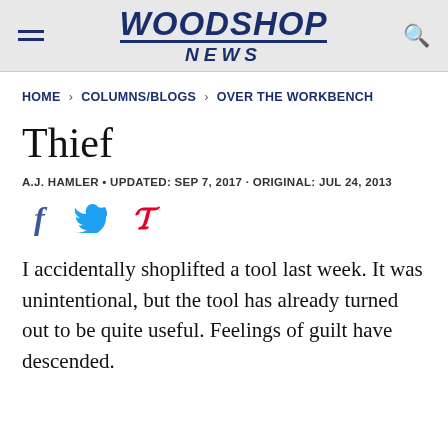WOODSHOP NEWS
HOME > COLUMNS/BLOGS > OVER THE WORKBENCH
Thief
A.J. HAMLER • UPDATED: SEP 7, 2017 · ORIGINAL: JUL 24, 2013
[Figure (other): Social share icons: Facebook (f), Twitter (bird), Pinterest (p)]
I accidentally shoplifted a tool last week. It was unintentional, but the tool has already turned out to be quite useful. Feelings of guilt have descended.